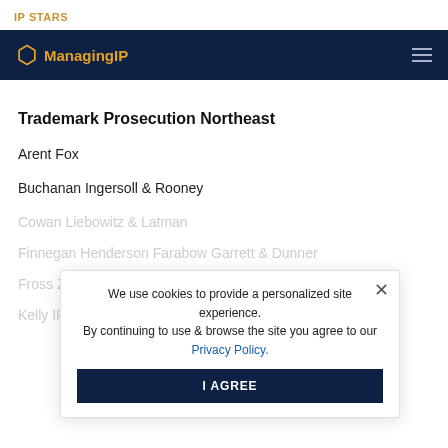IP STARS
[Figure (logo): Managing IP logo with hexagon icon on dark navy navigation bar]
Trademark Prosecution Northeast
Arent Fox
Buchanan Ingersoll & Rooney
Cowan Liebowitz & Latman
Finnegan Henderson Farabow Garrett & Dunner
Fross Zelnick Lehrman
Kelly IP
We use cookies to provide a personalized site experience. By continuing to use & browse the site you agree to our Privacy Policy.